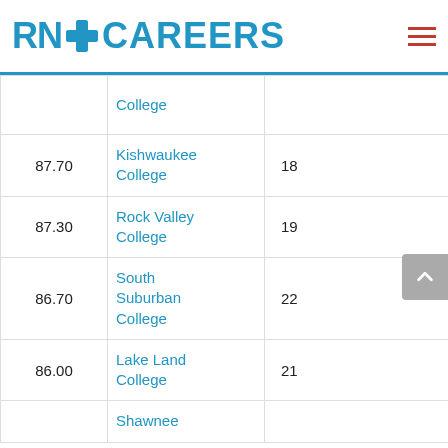[Figure (logo): RN+ Careers logo with blue cross icon and text]
| Score | College | Rank |  |
| --- | --- | --- | --- |
|  | College |  |  |
| 87.70 | Kishwaukee College | 18 | A |
| 87.30 | Rock Valley College | 19 | A |
| 86.70 | South Suburban College | 22 | A |
| 86.00 | Lake Land College | 21 | A |
|  | Shawnee... |  |  |